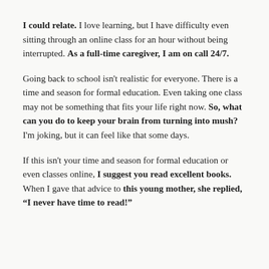I could relate. I love learning, but I have difficulty even sitting through an online class for an hour without being interrupted. As a full-time caregiver, I am on call 24/7.
Going back to school isn't realistic for everyone. There is a time and season for formal education. Even taking one class may not be something that fits your life right now. So, what can you do to keep your brain from turning into mush? I'm joking, but it can feel like that some days.
If this isn't your time and season for formal education or even classes online, I suggest you read excellent books. When I gave that advice to this young mother, she replied, “I never have time to read!”